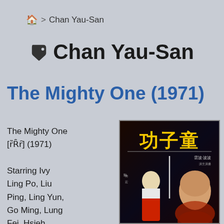🏠 > Chan Yau-San
Chan Yau-San
The Mighty One (1971)
The Mighty One [功子童] (1971)

Starring Ivy Ling Po, Liu Ping, Ling Yun, Go Ming, Lung Fei, Hsieh
[Figure (photo): Movie poster for The Mighty One (1971) showing Chinese characters 功子童 in yellow on a dark background with martial arts figures]